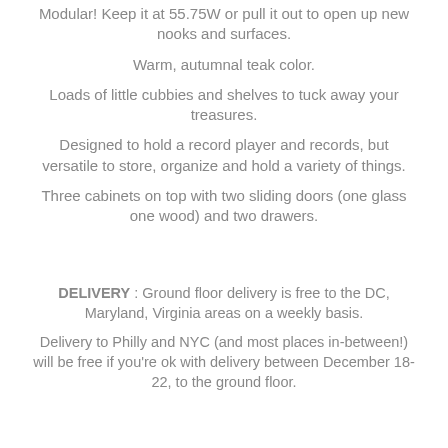Modular! Keep it at 55.75W or pull it out to open up new nooks and surfaces.
Warm, autumnal teak color.
Loads of little cubbies and shelves to tuck away your treasures.
Designed to hold a record player and records, but versatile to store, organize and hold a variety of things.
Three cabinets on top with two sliding doors (one glass one wood) and two drawers.
DELIVERY : Ground floor delivery is free to the DC, Maryland, Virginia areas on a weekly basis.
Delivery to Philly and NYC (and most places in-between!) will be free if you're ok with delivery between December 18-22, to the ground floor.